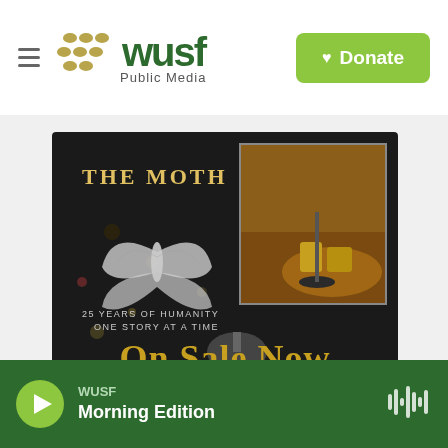[Figure (logo): WUSF Public Media logo with golden dot pattern and green WUSF text]
[Figure (screenshot): The Moth promotional image: dark background with moth illustration, text '25 Years of Humanity One Story at a Time', photo of performer's feet on stage with microphone, large gold text 'On Sale Now']
[Figure (illustration): Partial advertisement banner: 'Don't sweat it' text with sun graphic on light blue/yellow background]
WUSF
Morning Edition